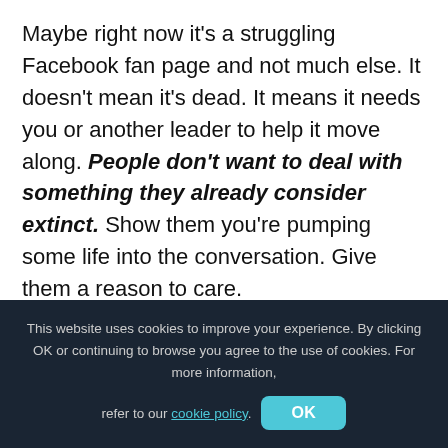Maybe right now it's a struggling Facebook fan page and not much else. It doesn't mean it's dead. It means it needs you or another leader to help it move along. People don't want to deal with something they already consider extinct. Show them you're pumping some life into the conversation. Give them a reason to care.

Customers now expect you to be in the social media space, listening to their needs, addressing their questions, and basically participating in the greater conversation. If you're NOT there, (or viewed as an Albatross) it will say
This website uses cookies to improve your experience. By clicking OK or continuing to browse you agree to the use of cookies. For more information, refer to our cookie policy.